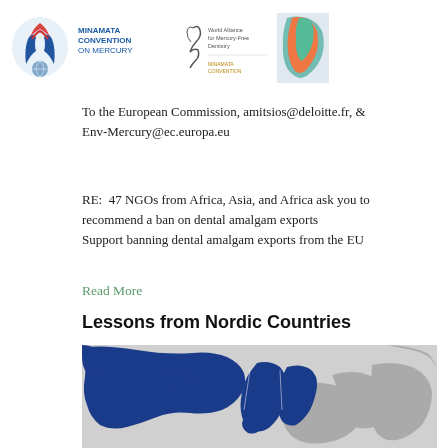[Figure (logo): Header logos: Minamata Convention on Mercury logos, World Alliance for Mercury-Free Dentistry, and Africa map]
To the European Commission, amitsios@deloitte.fr, & Env-Mercury@ec.europa.eu
RE:  47 NGOs from Africa, Asia, and Africa ask you to recommend a ban on dental amalgam exports Support banning dental amalgam exports from the EU
Read More
Lessons from Nordic Countries
[Figure (map): Map of Nordic countries (Norway, Sweden, Finland, Denmark, Iceland) highlighted in blue against grey background]